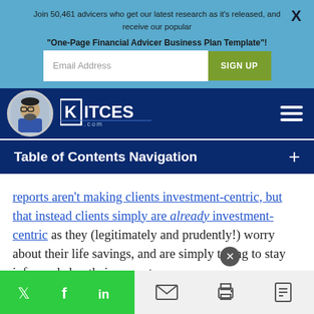Join 50,461 advicers who get our latest research as it's released, and receive our popular "One-Page Financial Advicer Business Plan Template"!
[Figure (screenshot): Email Address input field and SIGN UP button on light blue banner]
[Figure (logo): Kitces.com logo with avatar of Michael Kitces and KITCES.com wordmark on dark blue navigation bar]
Table of Contents Navigation
reports aren't making clients investment-centric, but that instead clients simply are already investment-centric as they (legitimately and prudently!) worry about their life savings, and are simply trying to stay informed about their current
[Figure (screenshot): Social share bar with Twitter, Facebook, LinkedIn icons in green, and email, print, PDF icons in gray]